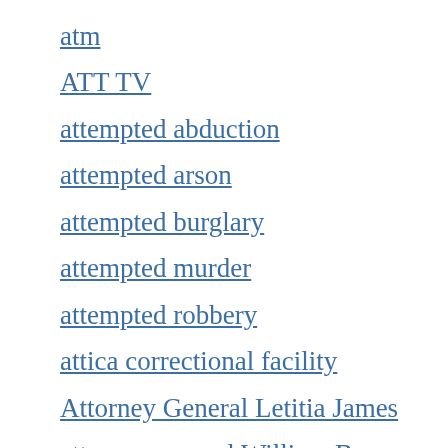atm
ATT TV
attempted abduction
attempted arson
attempted burglary
attempted murder
attempted robbery
attica correctional facility
Attorney General Letitia James
attorney general William Barr
atuneyote
atunyote golf course at turning stone
atv
atv accident
auction